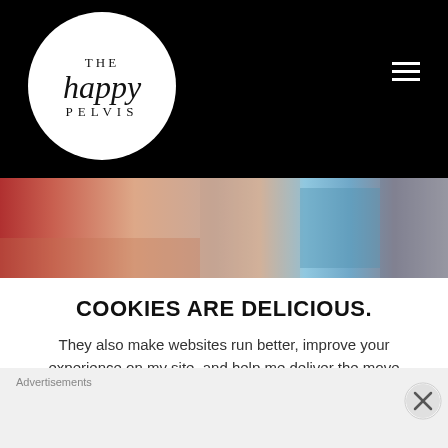[Figure (logo): The Happy Pelvis logo — white circle on black background with 'THE happy PELVIS' text]
[Figure (photo): Medical examination scene — blurred photo showing patient lying down with medical professional wearing blue gloves]
COOKIES ARE DELICIOUS.
They also make websites run better, improve your experience on my site, and help me deliver the move relevant pelvic health info t
Advertisements
REPORT THIS AD